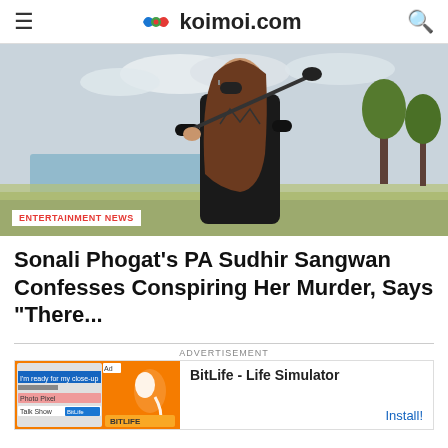koimoi.com
[Figure (photo): Woman with long brown hair wearing sunglasses and a black leather jacket, holding a golf club over her shoulder, standing near a lake with trees in the background. Badge reads ENTERTAINMENT NEWS.]
Sonali Phogat's PA Sudhir Sangwan Confesses Conspiring Her Murder, Says “There...
ADVERTISEMENT
[Figure (screenshot): Advertisement for BitLife - Life Simulator app with Install button]